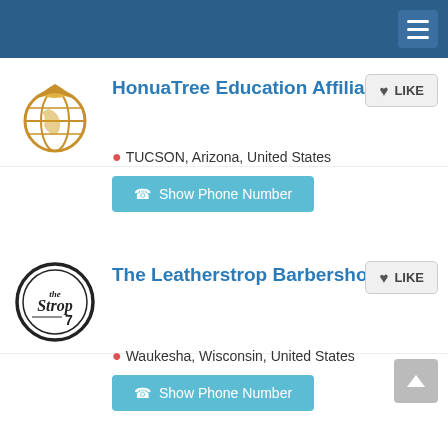[Figure (logo): HonuaTree Education Affiliate logo: globe with leaf/hat motif in orange and gold tones]
HonuaTree Education Affiliate !
TUCSON, Arizona, United States
Show Phone Number
[Figure (logo): The Leatherstrop Barbershop logo: circular black and white badge with 'Strop 7' script text]
The Leatherstrop Barbershop
Waukesha, Wisconsin, United States
Show Phone Number
Advanced Foot &